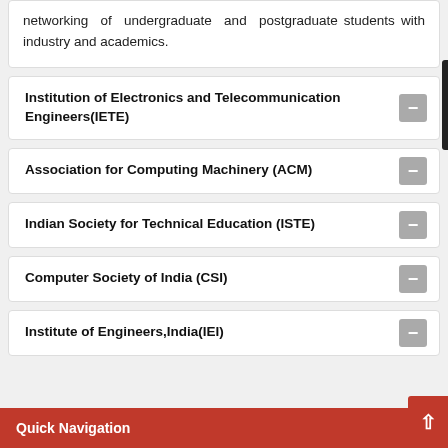networking of undergraduate and postgraduate students with industry and academics.
Institution of Electronics and Telecommunication Engineers(IETE)
Association for Computing Machinery (ACM)
Indian Society for Technical Education (ISTE)
Computer Society of India (CSI)
Institute of Engineers,India(IEI)
Quick Navigation